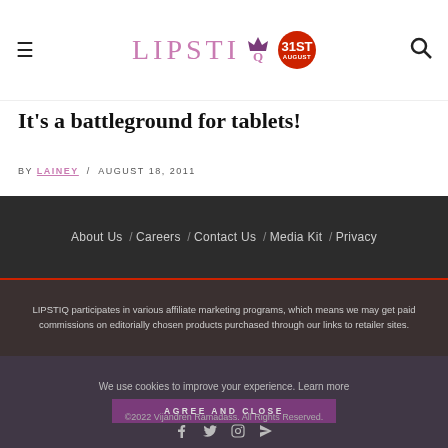LIPSTIQ — navigation header with hamburger menu, logo, and search icon
It's a battleground for tablets!
BY LAINEY / AUGUST 18, 2011
About Us / Careers / Contact Us / Media Kit / Privacy
LIPSTIQ participates in various affiliate marketing programs, which means we may get paid commissions on editorially chosen products purchased through our links to retailer sites.
We use cookies to improve your experience. Learn more
AGREE AND CLOSE
©2022 Vijandren Ramadass. All Rights Reserved.